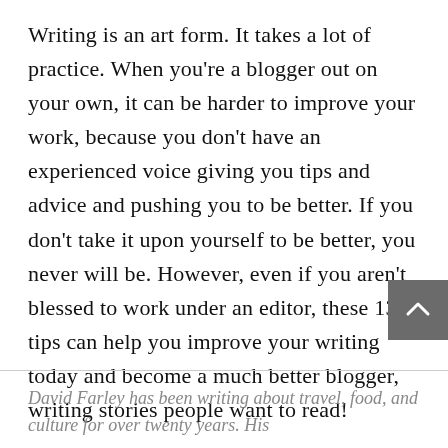Writing is an art form. It takes a lot of practice. When you're a blogger out on your own, it can be harder to improve your work, because you don't have an experienced voice giving you tips and advice and pushing you to be better. If you don't take it upon yourself to be better, you never will be. However, even if you aren't blessed to work under an editor, these 13 tips can help you improve your writing today and become a much better blogger, writing stories people want to read!
David Farley has been writing about travel, food, and culture for over twenty years. His